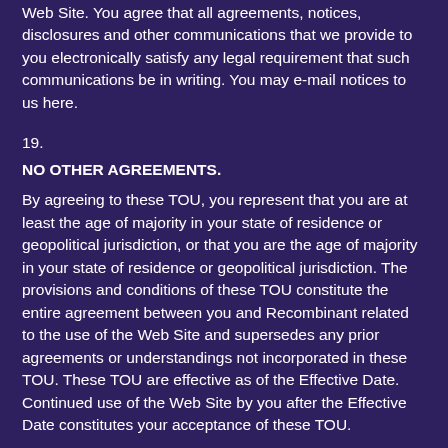Web Site. You agree that all agreements, notices, disclosures and other communications that we provide to you electronically satisfy any legal requirement that such communications be in writing. You may e-mail notices to us here.
19.
NO OTHER AGREEMENTS.
By agreeing to these TOU, you represent that you are at least the age of majority in your state of residence or geopolitical jurisdiction, or that you are the age of majority in your state of residence or geopolitical jurisdiction. The provisions and conditions of these TOU constitute the entire agreement between you and Recombinant related to the use of the Web Site and supersedes any prior agreements or understandings not incorporated in these TOU. These TOU are effective as of the Effective Date. Continued use of the Web Site by you after the Effective Date constitutes your acceptance of these TOU.
Should you have any questions concerning these TOU, or if you